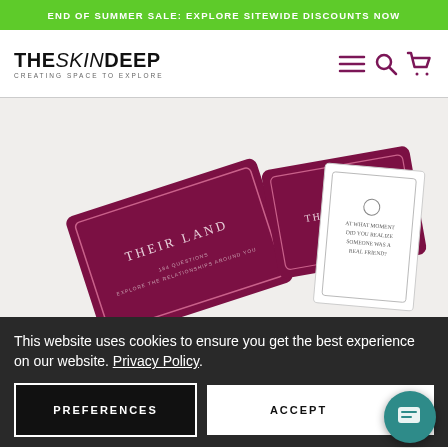END OF SUMMER SALE: EXPLORE SITEWIDE DISCOUNTS NOW
THESKINDEEP — CREATING SPACE TO EXPLORE
[Figure (photo): Product photo of 'THEIR LAND' card game box set in dark maroon/burgundy color, showing the box and several cards spread out on a white background]
This website uses cookies to ensure you get the best experience on our website. Privacy Policy
PREFERENCES
ACCEPT